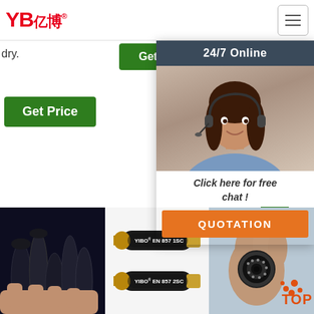YB 亿博 logo and navigation
dry.
Get Price
discharge hose des abr gra pell Con Opt
Get Price
24/7 Online
[Figure (photo): Customer service agent wearing headset, smiling]
Click here for free chat !
QUOTATION
[Figure (photo): Hand holding black hydraulic hoses bundled together]
[Figure (photo): Two YIBO EN 857 1SC and EN 857 2SC hydraulic hose product images on white background]
[Figure (photo): Hand holding a hydraulic hose fitting cross-section with orange TOP logo overlay]